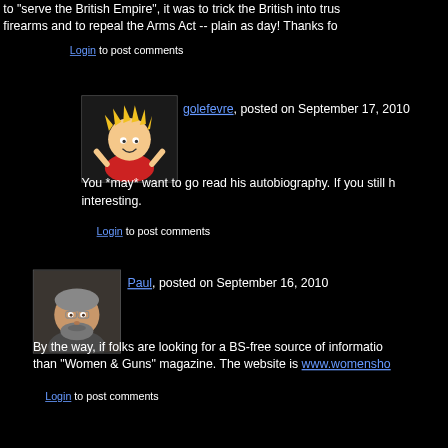to "serve the British Empire", it was to trick the British into trusting him with firearms and to repeal the Arms Act -- plain as day! Thanks fo
Login to post comments
golefevre, posted on September 17, 2010
[Figure (illustration): Avatar image of user golefevre: cartoon boy with spiky blond hair wearing a red shirt, raising his hands]
You *may* want to go read his autobiography. If you still h interesting.
Login to post comments
[Figure (photo): Avatar photo of user Paul: elderly man with beard and glasses]
Paul, posted on September 16, 2010
By the way, if folks are looking for a BS-free source of information than "Women & Guns" magazine. The website is www.womensho
Login to post comments